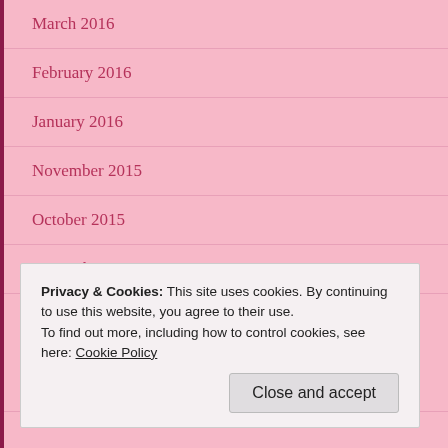March 2016
February 2016
January 2016
November 2015
October 2015
September 2015
CATEGORIES
Uncategorized
Privacy & Cookies: This site uses cookies. By continuing to use this website, you agree to their use.
To find out more, including how to control cookies, see here: Cookie Policy
Close and accept